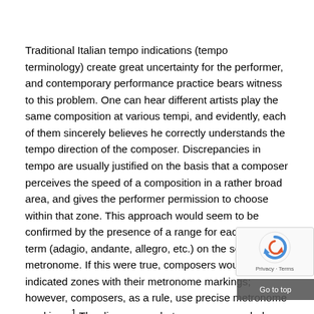Traditional Italian tempo indications (tempo terminology) create great uncertainty for the performer, and contemporary performance practice bears witness to this problem. One can hear different artists play the same composition at various tempi, and evidently, each of them sincerely believes he correctly understands the tempo direction of the composer. Discrepancies in tempo are usually justified on the basis that a composer perceives the speed of a composition in a rather broad area, and gives the performer permission to choose within that zone. This approach would seem to be confirmed by the presence of a range for each tempo term (adagio, andante, allegro, etc.) on the scale of the metronome. If this were true, composers would have indicated zones with their metronome markings; however, composers, as a rule, use precise metronome markings.¹ The discrepancy between vague verbal tempo indications and the precision of metronome markings constitutes the basic problem of tempo.
Contrary to the "zone idea," tempo terminology presupposes a direct step-by-step progression; a faster tempo indication